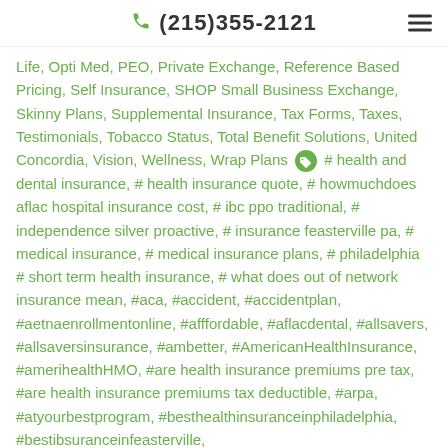(215)355-2121
Life, Opti Med, PEO, Private Exchange, Reference Based Pricing, Self Insurance, SHOP Small Business Exchange, Skinny Plans, Supplemental Insurance, Tax Forms, Taxes, Testimonials, Tobacco Status, Total Benefit Solutions, United Concordia, Vision, Wellness, Wrap Plans # health and dental insurance, # health insurance quote, # howmuchdoes aflac hospital insurance cost, # ibc ppo traditional, # independence silver proactive, # insurance feasterville pa, # medical insurance, # medical insurance plans, # philadelphia # short term health insurance, # what does out of network insurance mean, #aca, #accident, #accidentplan, #aetnaenrollmentonline, #afffordable, #aflacdental, #allsavers, #allsaversinsurance, #ambetter, #AmericanHealthInsurance, #amerihealthHMO, #are health insurance premiums pre tax, #are health insurance premiums tax deductible, #arpa, #atyourbestprogram, #besthealthinsuranceinphiladelphia, #bestibsuranceinfeasterville,